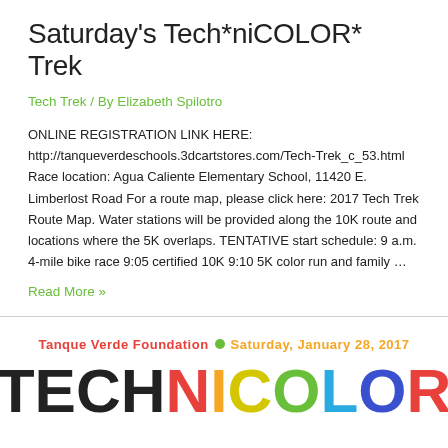Saturday's Tech*niCOLOR* Trek
Tech Trek / By Elizabeth Spilotro
ONLINE REGISTRATION LINK HERE: http://tanqueverdeschools.3dcartstores.com/Tech-Trek_c_53.html Race location: Agua Caliente Elementary School, 11420 E. Limberlost Road For a route map, please click here: 2017 Tech Trek Route Map. Water stations will be provided along the 10K route and locations where the 5K overlaps. TENTATIVE start schedule: 9 a.m. 4-mile bike race 9:05 certified 10K 9:10 5K color run and family …
Read More »
[Figure (logo): Technicolor event logo with 'Tanque Verde Foundation' in red and 'Saturday, January 28, 2017' in orange, and TECHNICOLOR in large multicolored bold letters (black, red, orange, yellow, green, blue, dark blue, red)]